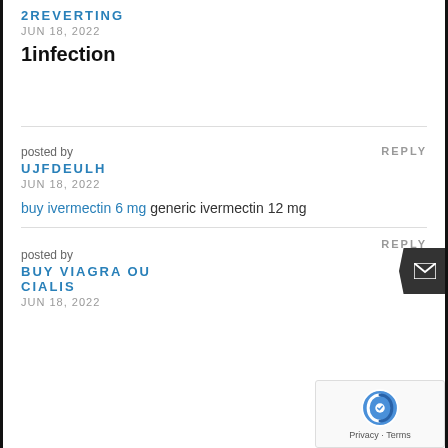2REVERTING
JUN 18, 2022
1infection
posted by
REPLY
UJFDEULH
JUN 18, 2022
buy ivermectin 6 mg generic ivermectin 12 mg
posted by
REPLY
BUY VIAGRA OU CIALIS
JUN 18, 2022